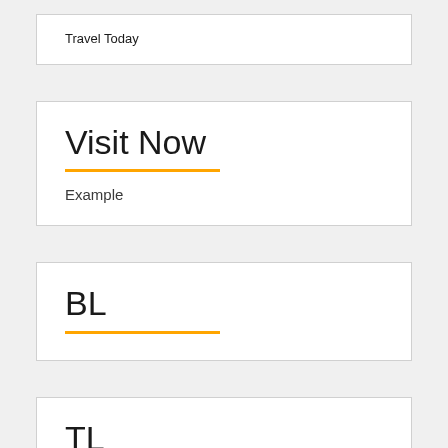Travel Today
Visit Now
Example
BL
TL